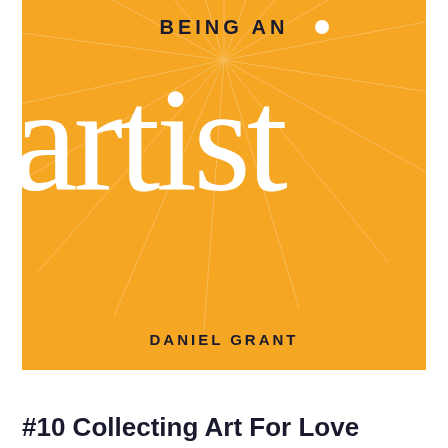[Figure (illustration): Book cover for 'Being an Artist' by Daniel Grant. Orange/amber background with sunburst pattern. Large white serif text reads 'artist' in lowercase. Above in dark text 'BEING AN' with a white dot. Author name 'DANIEL GRANT' in dark uppercase text at bottom of cover.]
#10 Collecting Art For Love